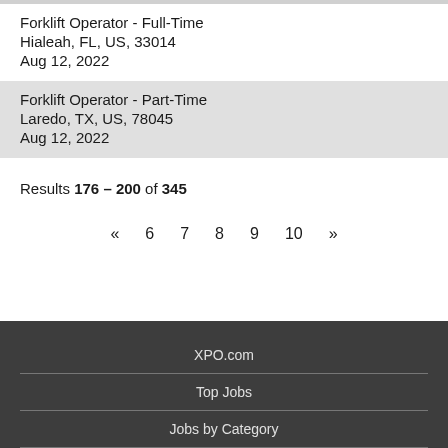Forklift Operator - Full-Time
Hialeah, FL, US, 33014
Aug 12, 2022
Forklift Operator - Part-Time
Laredo, TX, US, 78045
Aug 12, 2022
Results 176 – 200 of 345
« 6 7 8 9 10 »
XPO.com
Top Jobs
Jobs by Category